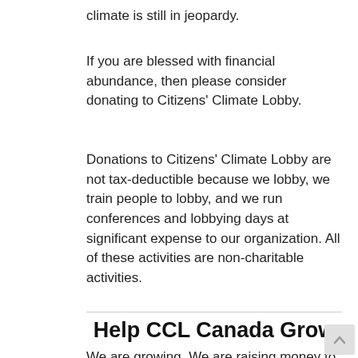climate is still in jeopardy.
If you are blessed with financial abundance, then please consider donating to Citizens' Climate Lobby.
Donations to Citizens' Climate Lobby are not tax-deductible because we lobby, we train people to lobby, and we run conferences and lobbying days at significant expense to our organization. All of these activities are non-charitable activities.
Help CCL Canada Grow
We are growing. We are raising money to run in-person conferences post-COVID. Furthermore, we are building on over 11 years of institutional wisdom in nurturing some of